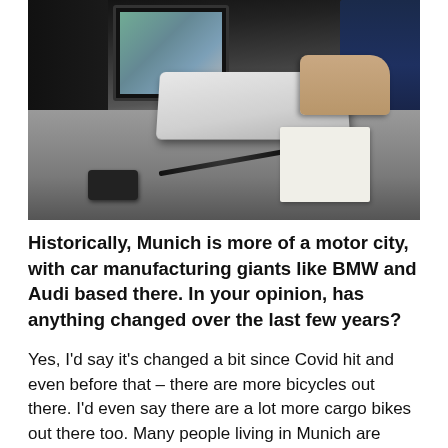[Figure (photo): A person's hand typing on a white keyboard at a dark desk, with a monitor, pen, papers, and a mobile phone visible. The person is wearing a dark blue jacket sleeve.]
Historically, Munich is more of a motor city, with car manufacturing giants like BMW and Audi based there. In your opinion, has anything changed over the last few years?
Yes, I'd say it's changed a bit since Covid hit and even before that – there are more bicycles out there. I'd even say there are a lot more cargo bikes out there too. Many people living in Munich are ditching their cars and buying cargo bikes, or they've gone back to using their bicycles to get around. Covid definitely played a big